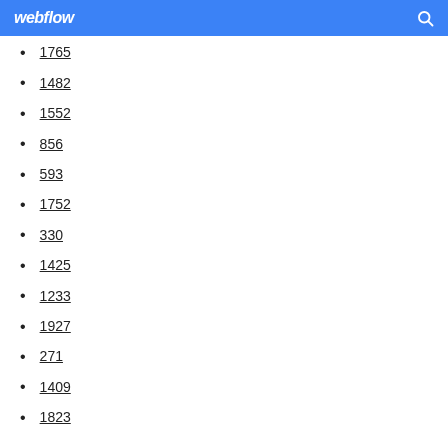webflow
1765
1482
1552
856
593
1752
330
1425
1233
1927
271
1409
1823